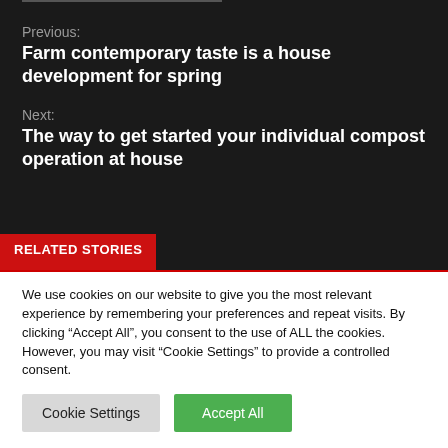Previous:
Farm contemporary taste is a house development for spring
Next:
The way to get started your individual compost operation at house
RELATED STORIES
We use cookies on our website to give you the most relevant experience by remembering your preferences and repeat visits. By clicking “Accept All”, you consent to the use of ALL the cookies. However, you may visit “Cookie Settings” to provide a controlled consent.
Cookie Settings
Accept All